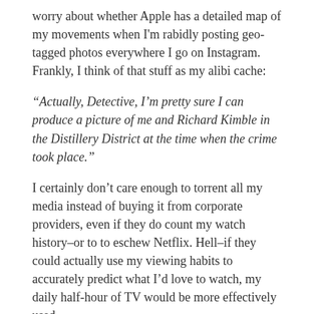worry about whether Apple has a detailed map of my movements when I'm rabidly posting geo-tagged photos everywhere I go on Instagram. Frankly, I think of that stuff as my alibi cache:
“Actually, Detective, I’m pretty sure I can produce a picture of me and Richard Kimble in the Distillery District at the time when the crime took place.”
I certainly don’t care enough to torrent all my media instead of buying it from corporate providers, even if they do count my watch history–or to to eschew Netflix. Hell–if they could actually use my viewing habits to accurately predict what I’d love to watch, my daily half-hour of TV would be more effectively used.
(It used to be more TV. Again, kittens are so time consuming!)
It’s true that I don’t actually *need* Netflix to recommend stuff. My friends do that–check out Gemma Files and her drive-by film and TV reviews–but Peter’s not wrong. We should take him seriously. It’s reasonable to want our TVs to be passive machines that deliver